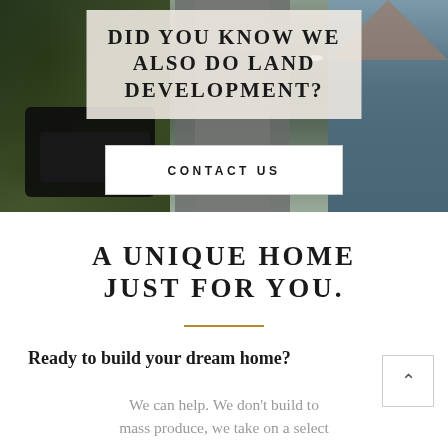[Figure (photo): Aerial view of a residential street with dark vehicles, road, and a house with dark blue siding visible on the right side]
DID YOU KNOW WE ALSO DO LAND DEVELOPMENT?
CONTACT US
A UNIQUE HOME JUST FOR YOU.
Ready to build your dream home?
We can help. We don't build to mass produce, we take on a select